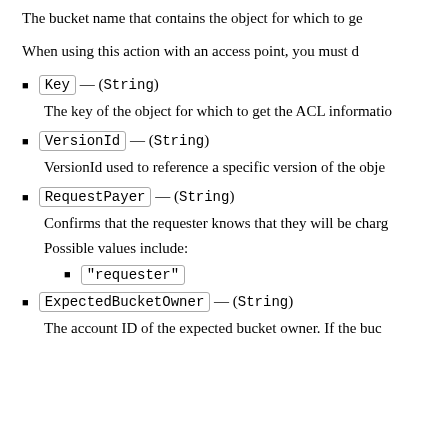The bucket name that contains the object for which to ge
When using this action with an access point, you must d
Key — (String)
The key of the object for which to get the ACL informatio
VersionId — (String)
VersionId used to reference a specific version of the obje
RequestPayer — (String)
Confirms that the requester knows that they will be charg
Possible values include:
"requester"
ExpectedBucketOwner — (String)
The account ID of the expected bucket owner. If the buc